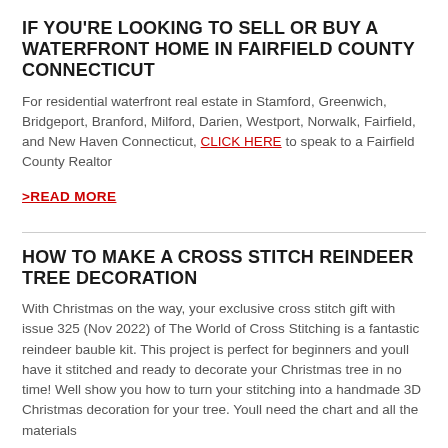IF YOU'RE LOOKING TO SELL OR BUY A WATERFRONT HOME IN FAIRFIELD COUNTY CONNECTICUT
For residential waterfront real estate in Stamford, Greenwich, Bridgeport, Branford, Milford, Darien, Westport, Norwalk, Fairfield, and New Haven Connecticut, CLICK HERE to speak to a Fairfield County Realtor
>READ MORE
HOW TO MAKE A CROSS STITCH REINDEER TREE DECORATION
With Christmas on the way, your exclusive cross stitch gift with issue 325 (Nov 2022) of The World of Cross Stitching is a fantastic reindeer bauble kit. This project is perfect for beginners and youll have it stitched and ready to decorate your Christmas tree in no time! Well show you how to turn your stitching into a handmade 3D Christmas decoration for your tree. Youll need the chart and all the materials